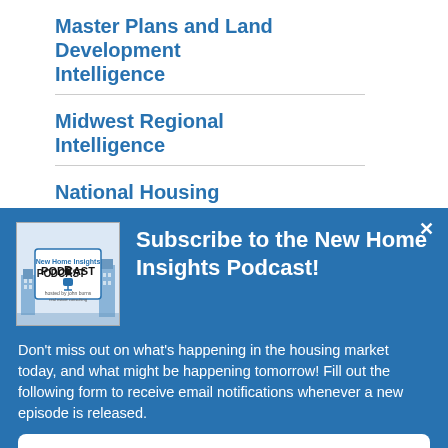Master Plans and Land Development Intelligence
Midwest Regional Intelligence
National Housing
Subscribe to the New Home Insights Podcast!
Don't miss out on what's happening in the housing market today, and what might be happening tomorrow! Fill out the following form to receive email notifications whenever a new episode is released.
Subscribe now